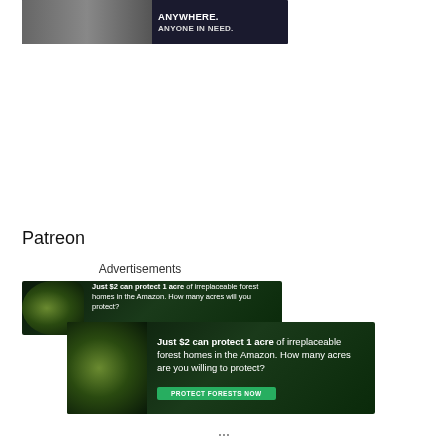[Figure (photo): Top banner advertisement showing military/humanitarian aid workers loading supplies onto a vehicle with text overlay reading 'ANYWHERE. ANYONE IN NEED.']
Patreon
Advertisements
[Figure (photo): Amazon rainforest conservation advertisement featuring a monkey/primate in lush green forest. Text: 'Just $2 can protect 1 acre of irreplaceable forest homes in the Amazon. How many acres will you protect?' with green 'PROTECT FORESTS NOW' button.]
[Figure (photo): Second Amazon rainforest conservation advertisement featuring a monkey/primate in green forest. Text: 'Just $2 can protect 1 acre of irreplaceable forest homes in the Amazon. How many acres are you willing to protect?' with green 'PROTECT FORESTS NOW' button.]